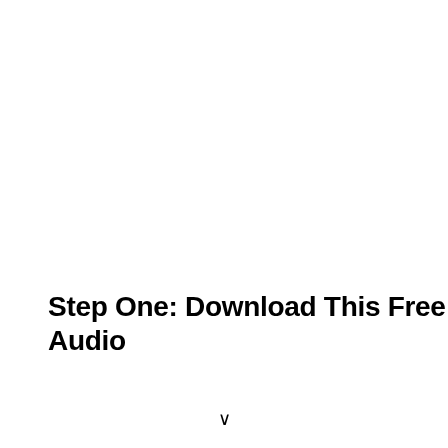Step One: Download This Free Audio
v